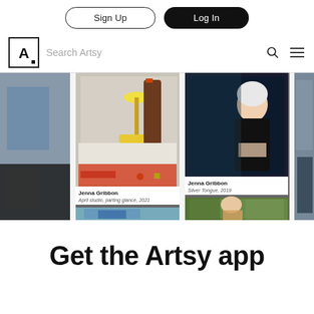Sign Up | Log In
Search Artsy
[Figure (screenshot): Artsy art gallery grid showing multiple paintings by Jenna Gribbon, including 'April studio, parting glance, 2021' and 'Silver Tongue, 2019'. Grid layout with 4 columns of artwork images partially visible.]
Get the Artsy app